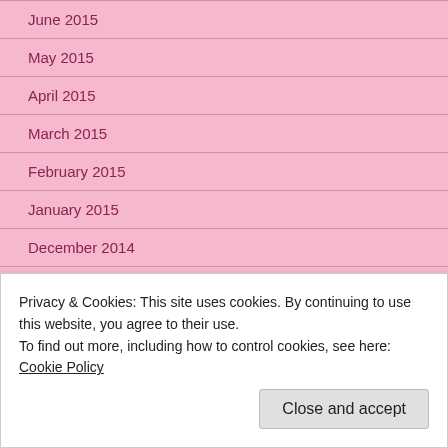June 2015
May 2015
April 2015
March 2015
February 2015
January 2015
December 2014
November 2014
October 2014
September 2014
August 2014
April 2014
Privacy & Cookies: This site uses cookies. By continuing to use this website, you agree to their use.
To find out more, including how to control cookies, see here: Cookie Policy
Close and accept